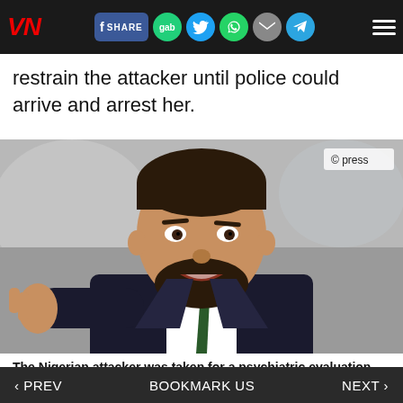VN | SHARE | gab | [twitter] | [whatsapp] | [email] | [telegram] | [menu]
restrain the attacker until police could arrive and arrest her.
[Figure (photo): Man in dark suit pointing finger at camera; press photo watermark in top right corner]
The Nigerian attacker was taken for a psychiatric evaluation after police found her in a 'confused state'
‹ PREV    BOOKMARK US    NEXT ›